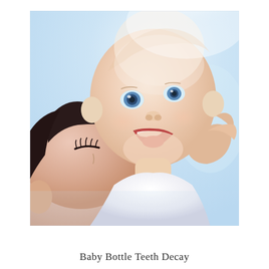[Figure (photo): A close-up photo of a smiling baby with blue eyes being held up and kissed or nuzzled by a woman (presumably the mother). The baby is laughing with mouth open, set against a soft light blue/white background. The image has a soft, dreamy quality.]
Baby Bottle Teeth Decay